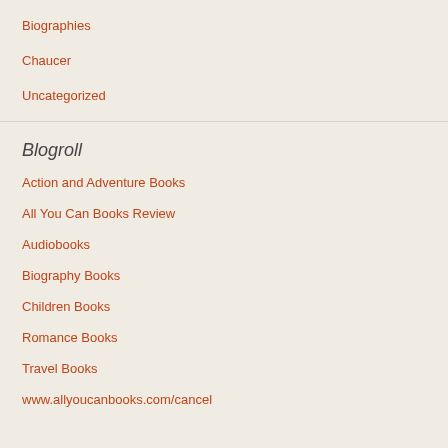Biographies
Chaucer
Uncategorized
Blogroll
Action and Adventure Books
All You Can Books Review
Audiobooks
Biography Books
Children Books
Romance Books
Travel Books
www.allyoucanbooks.com/cancel